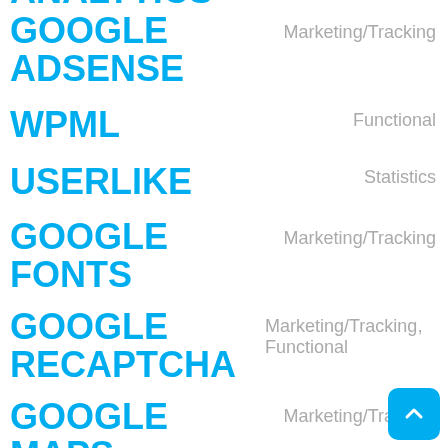ANALYTICS
GOOGLE ADSENSE
WPML
USERLIKE
GOOGLE FONTS
GOOGLE RECAPTCHA
GOOGLE MAPS